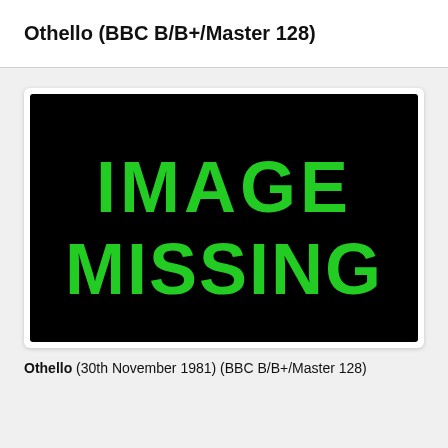Othello (BBC B/B+/Master 128)
[Figure (photo): Black background image placeholder with green text reading 'IMAGE MISSING']
Othello (30th November 1981) (BBC B/B+/Master 128)